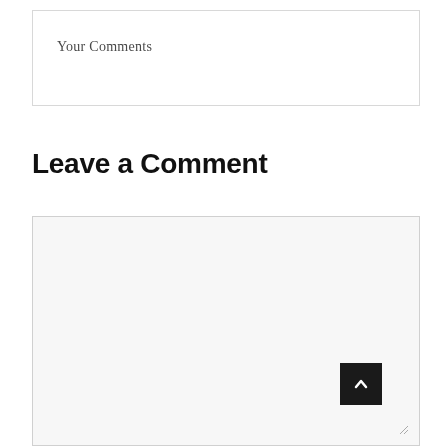Your Comments
Leave a Comment
[Figure (other): Empty comment textarea input field with light gray background and a scroll-to-top button (dark square with upward chevron) overlaid in the bottom-right corner]